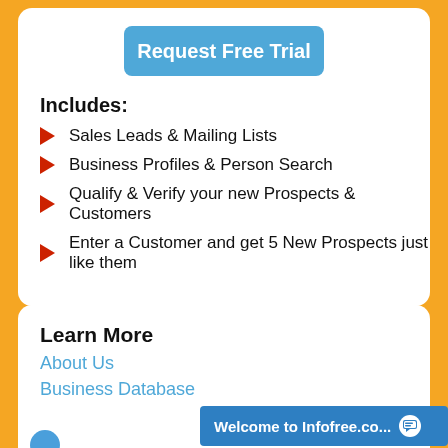[Figure (other): Blue 'Request Free Trial' button]
Includes:
Sales Leads & Mailing Lists
Business Profiles & Person Search
Qualify & Verify your new Prospects & Customers
Enter a Customer and get 5 New Prospects just like them
Learn More
About Us
Business Database
Consumer Database
Blog
Follo
Welcome to Infofree.co...